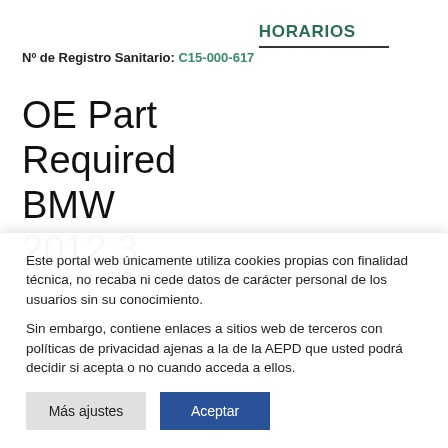Nº de Registro Sanitario: C15-000-617
HORARIOS
OE Part Required BMW 2012 3
Este portal web únicamente utiliza cookies propias con finalidad técnica, no recaba ni cede datos de carácter personal de los usuarios sin su conocimiento.
Sin embargo, contiene enlaces a sitios web de terceros con políticas de privacidad ajenas a la de la AEPD que usted podrá decidir si acepta o no cuando acceda a ellos.
Más ajustes  Aceptar